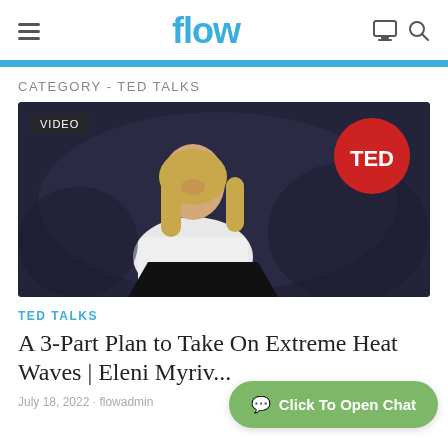flow
CATEGORY - TED TALKS
[Figure (photo): A woman in a white blazer smiling at a podium, with a red TED logo circle in the upper right and a VIDEO badge in the upper left.]
TED TALKS
A 3-Part Plan to Take On Extreme Heat Waves | Eleni Myriv...
July 18, 2022 · flowadmin